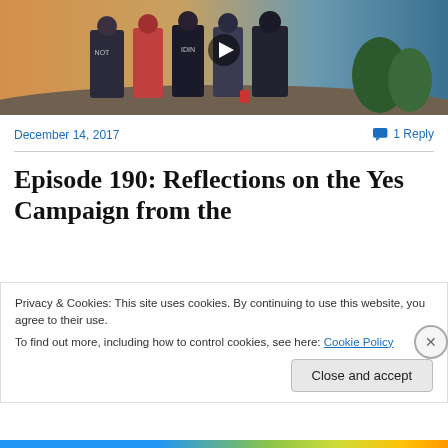[Figure (photo): Group of young people standing together outdoors with ocean/landscape in background, video thumbnail with play button]
December 14, 2017
1 Reply
Episode 190: Reflections on the Yes Campaign from the
Privacy & Cookies: This site uses cookies. By continuing to use this website, you agree to their use.
To find out more, including how to control cookies, see here: Cookie Policy
Close and accept